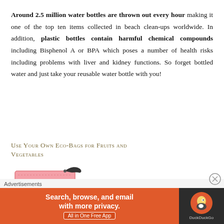Around 2.5 million water bottles are thrown out every hour making it one of the top ten items collected in beach clean-ups worldwide. In addition, plastic bottles contain harmful chemical compounds including Bisphenol A or BPA which poses a number of health risks including problems with liver and kidney functions. So forget bottled water and just take your reusable water bottle with you!
Use your own eco-bags for fruits and vegetables
[Figure (illustration): Pink eco-bag illustration with a dark tie/closure at the top right]
Advertisements
[Figure (screenshot): DuckDuckGo advertisement banner: Search, browse, and email with more privacy. All in One Free App]